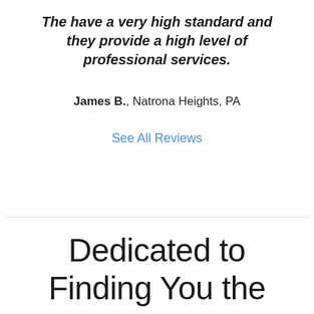The have a very high standard and they provide a high level of professional services.
James B., Natrona Heights, PA
See All Reviews
Dedicated to Finding You the Best Coverage Possible!